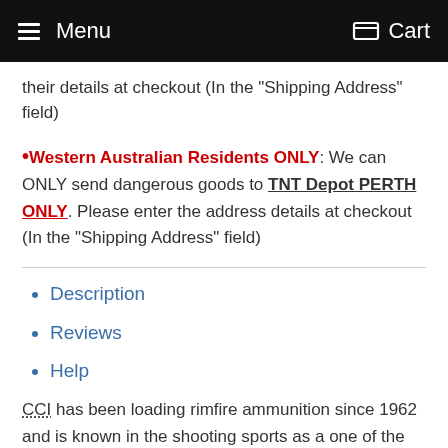Menu   Cart
their details at checkout (In the "Shipping Address" field)
•Western Australian Residents ONLY: We can ONLY send dangerous goods to TNT Depot PERTH ONLY. Please enter the address details at checkout (In the "Shipping Address" field)
Description
Reviews
Help
CCI has been loading rimfire ammunition since 1962 and is known in the shooting sports as a one of the leaders in rimfire ammunition. CCI has made a reputation for delivering quality ammunition that delivers consistent...